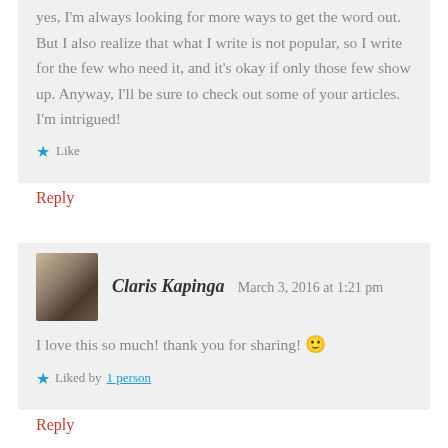yes, I'm always looking for more ways to get the word out. But I also realize that what I write is not popular, so I write for the few who need it, and it's okay if only those few show up. Anyway, I'll be sure to check out some of your articles. I'm intrigued!
★ Like
Reply
Claris Kapinga   March 3, 2016 at 1:21 pm
I love this so much! thank you for sharing! 🙂
★ Liked by 1 person
Reply